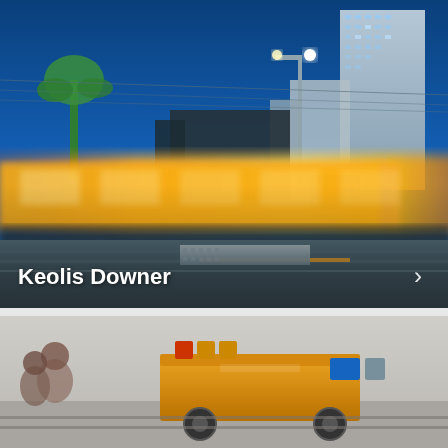[Figure (photo): A blurred motion photograph of a yellow tram/light rail vehicle speeding through an urban street at dusk or night. Blue sky background, city buildings including a tall skyscraper on the right, palm trees visible, street lights and neon signs. Tram tracks and platform visible in foreground. Text overlay 'Keolis Downer' in white bold letters at bottom left, with a right-pointing arrow chevron at bottom right.]
[Figure (photo): Partial view of a second card/photo below, showing what appears to be railway/engineering equipment or a maintenance vehicle, partially cut off at the bottom of the page.]